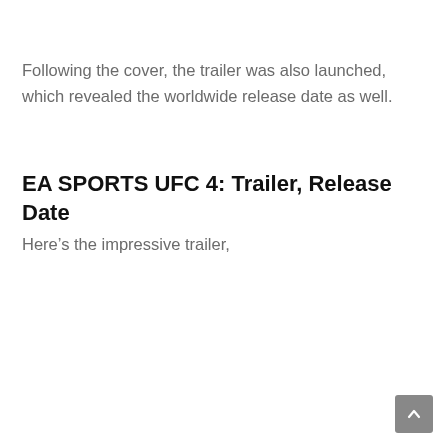Following the cover, the trailer was also launched, which revealed the worldwide release date as well.
EA SPORTS UFC 4: Trailer, Release Date
Here’s the impressive trailer,